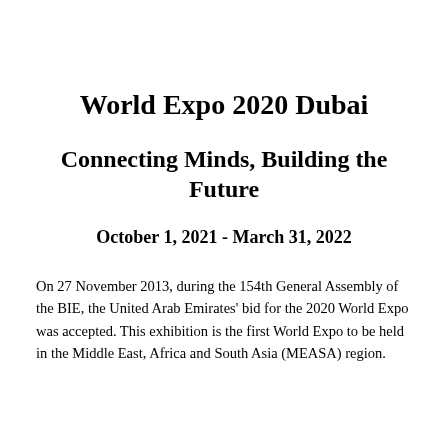World Expo 2020 Dubai
Connecting Minds, Building the Future
October 1, 2021 - March 31, 2022
On 27 November 2013, during the 154th General Assembly of the BIE, the United Arab Emirates' bid for the 2020 World Expo was accepted. This exhibition is the first World Expo to be held in the Middle East, Africa and South Asia (MEASA) region.